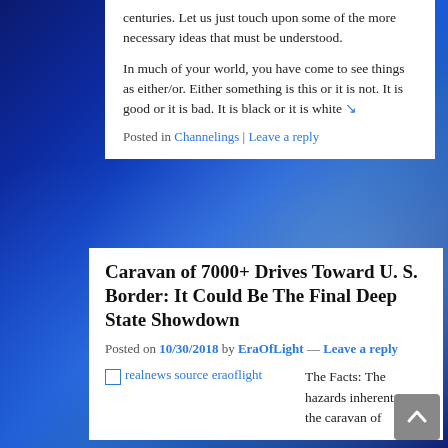centuries. Let us just touch upon some of the more necessary ideas that must be understood.
In much of your world, you have come to see things as either/or. Either something is this or it is not. It is good or it is bad. It is black or it is white ↘
Posted in Channelings | Leave a reply
Caravan of 7000+ Drives Toward U. S. Border: It Could Be The Final Deep State Showdown
Posted on 10/30/2018 by EraOfLight — Leave a reply
[Figure (photo): Broken image placeholder labeled 'realnews source eraoflight']
The Facts: The hazards inherent in the caravan of